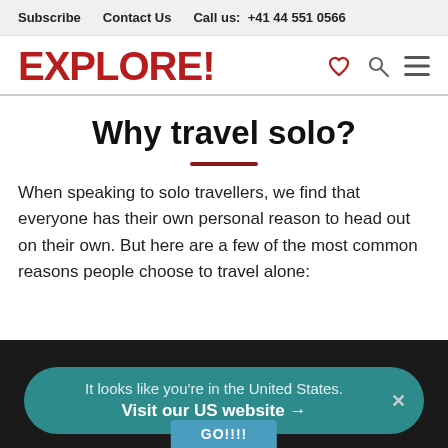Subscribe   Contact Us   Call us: +41 44 551 0566
EXPLORE!
Why travel solo?
When speaking to solo travellers, we find that everyone has their own personal reason to head out on their own. But here are a few of the most common reasons people choose to travel alone:
It looks like you're in the United States.
Visit our US website →